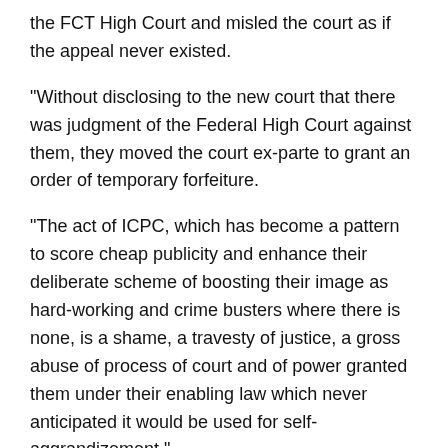the FCT High Court and misled the court as if the appeal never existed.
“Without disclosing to the new court that there was judgment of the Federal High Court against them, they moved the court ex-parte to grant an order of temporary forfeiture.
“The act of ICPC, which has become a pattern to score cheap publicity and enhance their deliberate scheme of boosting their image as hard-working and crime busters where there is none, is a shame, a travesty of justice, a gross abuse of process of court and of power granted them under their enabling law which never anticipated it would be used for self-aggrandizement.”
The statement noted that in 2017, the ICPC “approached the FCT High Court, obtained a similar order, went to the press to embarrass the client and their businesses”